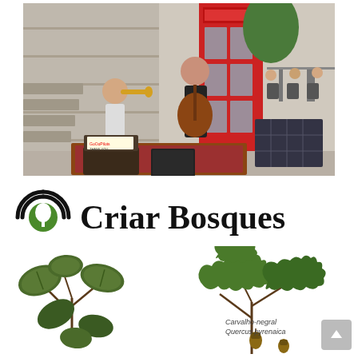[Figure (photo): Two street musicians performing outdoors in front of a red British phone box. A man on the left is playing a trumpet while seated, and a woman in the center plays an acoustic guitar. In front of them are open suitcases with items, a chalkboard sign, and solar panels to the right. Cafe seating is visible in the background.]
[Figure (logo): Criar Bosques logo: a circular icon with a green tree/leaf symbol inside brackets resembling radio waves, followed by the text 'Criar Bosques' in large serif font.]
[Figure (illustration): Two botanical illustrations of plant leaves and branches. Left: a broad-leaved plant branch. Right: an oak branch with acorns labeled 'Carvalho-negral / Quercus pyrenaica'.]
Carvalho-negral
Quercus pyrenaica